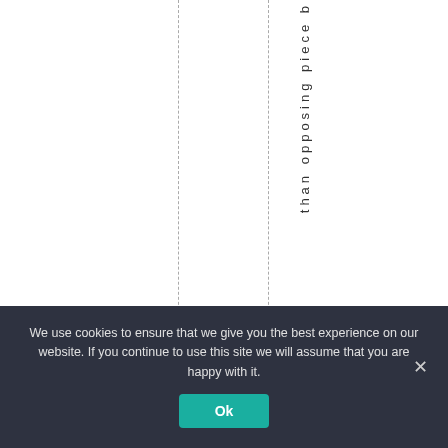than opposing piece b
We use cookies to ensure that we give you the best experience on our website. If you continue to use this site we will assume that you are happy with it.